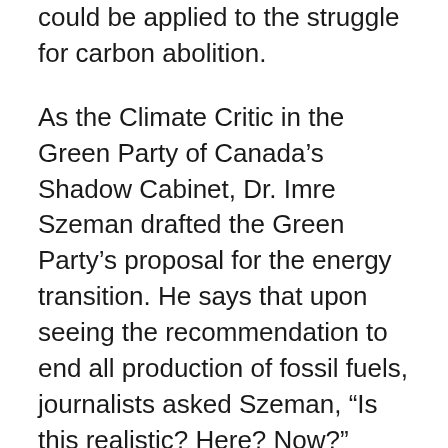could be applied to the struggle for carbon abolition.
As the Climate Critic in the Green Party of Canada's Shadow Cabinet, Dr. Imre Szeman drafted the Green Party's proposal for the energy transition. He says that upon seeing the recommendation to end all production of fossil fuels, journalists asked Szeman, “Is this realistic? Here? Now?” They seemed to view such a change as “impossible — even though they might want it.”
Szeman argued that whether climate solutions are considered ‘realistic’ isn’t so much a question of cost, but of “our ability to